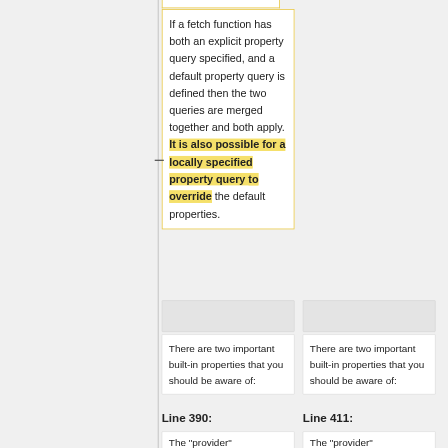If a fetch function has both an explicit property query specified, and a default property query is defined then the two queries are merged together and both apply. It is also possible for a locally specified property query to override the default properties.
There are two important built-in properties that you should be aware of:
There are two important built-in properties that you should be aware of:
Line 390:
Line 411:
The "provider"
The "provider"